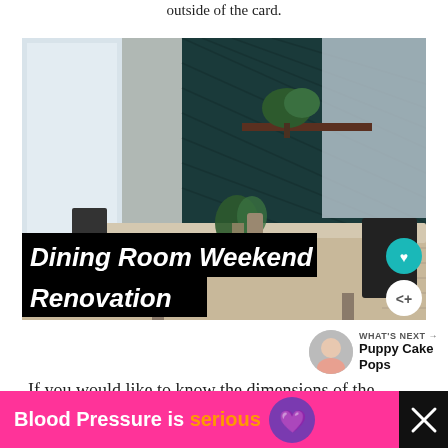outside of the card.
[Figure (photo): Dining room with dark teal shiplap accent wall, wooden table, black chairs, and plant centerpiece. Overlay text reads 'Dining Room Weekend Renovation' in bold italic white on black background. Teal heart button and share button visible on right side.]
WHAT'S NEXT → Puppy Cake Pops
If you would like to know the dimensions of the
[Figure (infographic): Advertisement banner: pink background with text 'Blood Pressure is serious' with orange 'serious', and heart icon logo. Black area on right with X close button.]